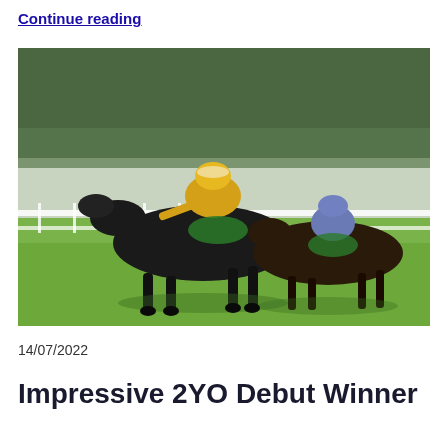Continue reading
[Figure (photo): Horse race photo showing two horses and jockeys, the lead horse ridden by a jockey in a yellow and white silks, closely followed by a second horse with a jockey in blue silks, racing on a green grass track with white rail fencing and trees in the background.]
14/07/2022
Impressive 2YO Debut Winner